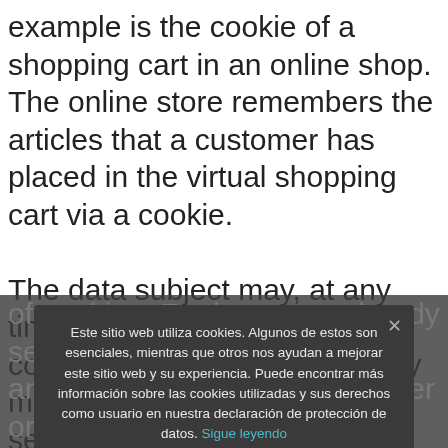example is the cookie of a shopping cart in an online shop. The online store remembers the articles that a customer has placed in the virtual shopping cart via a cookie.
The data subject may, at any time, prevent the setting of cookies through our website by means of a corresponding setting of the Internet browser used, and may thus permanently deny the setting of cookies. Furthermore, already set cookies may be deleted at any time via an Internet browser or other software programs. This is possible in all popular Internet browsers. If the data subject deactivates the setting of cookies in the Internet
Este sitio web utiliza cookies. Algunos de estos son esenciales, mientras que otros nos ayudan a mejorar este sitio web y su experiencia. Puede encontrar más información sobre las cookies utilizadas y sus derechos como usuario en nuestra declaración de protección de datos. Sigue leyendo